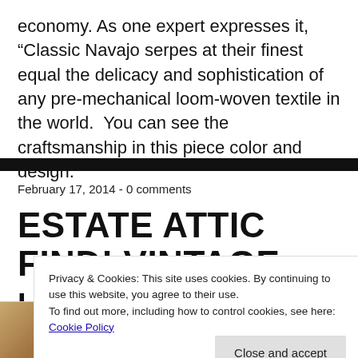economy. As one expert expresses it, “Classic Navajo serpes at their finest equal the delicacy and sophistication of any pre-mechanical loom-woven textile in the world.  You can see the craftsmanship in this piece color and design.
February 17, 2014 - 0 comments
ESTATE ATTIC FIND! VINTAGE LOT OF INDIAN BASKET COLLECTION
Privacy & Cookies: This site uses cookies. By continuing to use this website, you agree to their use.
To find out more, including how to control cookies, see here: Cookie Policy
Close and accept
[Figure (photo): Bottom portion showing a woven basket photo on the left and partial text 'acquired' on the right]
acquired